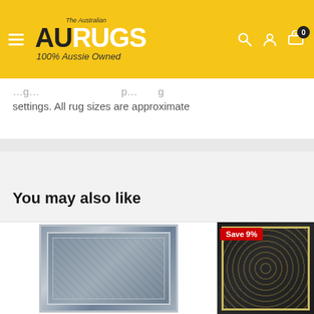[Figure (logo): AU Rugs logo on yellow header with hamburger menu, search, account, and cart icons showing '0']
settings. All rug sizes are approximate
You may also like
[Figure (photo): Grey vintage/oriental style rug with cream border pattern]
[Figure (photo): Black rug with gold circular pattern, showing Save 9% badge]